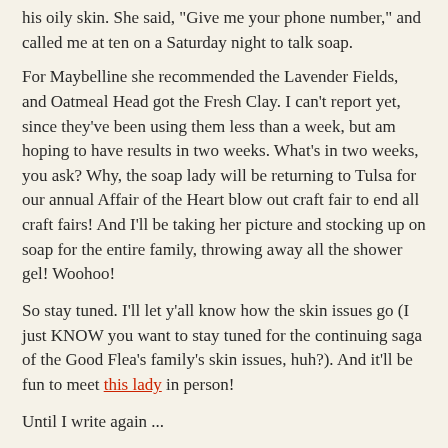his oily skin. She said, "Give me your phone number," and called me at ten on a Saturday night to talk soap.
For Maybelline she recommended the Lavender Fields, and Oatmeal Head got the Fresh Clay. I can't report yet, since they've been using them less than a week, but am hoping to have results in two weeks. What's in two weeks, you ask? Why, the soap lady will be returning to Tulsa for our annual Affair of the Heart blow out craft fair to end all craft fairs! And I'll be taking her picture and stocking up on soap for the entire family, throwing away all the shower gel! Woohoo!
So stay tuned. I'll let y'all know how the skin issues go (I just KNOW you want to stay tuned for the continuing saga of the Good Flea's family's skin issues, huh?). And it'll be fun to meet this lady in person!
Until I write again ...
Flea
Flea When? 05:52